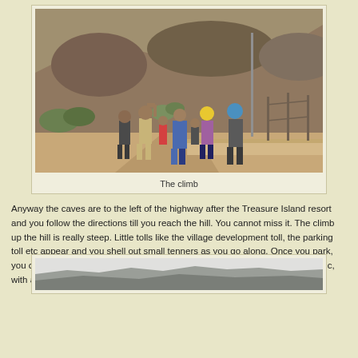[Figure (photo): People walking up a steep paved path on a hillside, with rocky hill and sparse vegetation in the background. Several people visible including one in a yellow hat, one in blue, and others in casual clothing.]
The climb
Anyway the caves are to the left of the highway after the Treasure Island resort and you follow the directions till you reach the hill. You cannot miss it. The climb up the hill is really steep. Little tolls like the village development toll, the parking toll etc appear and you shell out small tenners as you go along. Once you park, you can relax in the shade of some tall eucalyptus trees, a fine spot for a picnic, with a lovely homemade kulfi before you start the trek upwards.
[Figure (photo): Distant rocky hillside or plateau viewed from below, showing rocky terrain against a light sky.]